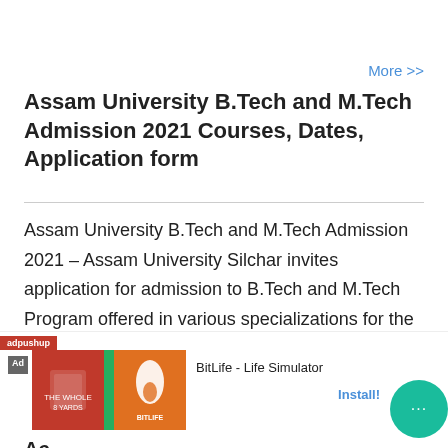More >>
Assam University B.Tech and M.Tech Admission 2021 Courses, Dates, Application form
Assam University B.Tech and M.Tech Admission 2021 – Assam University Silchar invites application for admission to B.Tech and M.Tech Program offered in various specializations for the academic year 2021-22.
[Figure (other): Advertisement banner showing adpushup ad with BitLife - Life Simulator app install prompt, featuring football jersey image and BitLife logo, with Install button and chat bubble icon.]